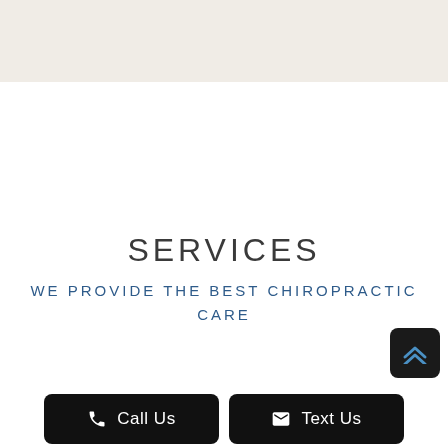[Figure (other): Beige/cream colored top banner bar decorative element]
SERVICES
WE PROVIDE THE BEST CHIROPRACTIC CARE
[Figure (other): Scroll to top button - dark rounded square with double chevron up arrow]
Call Us
Text Us